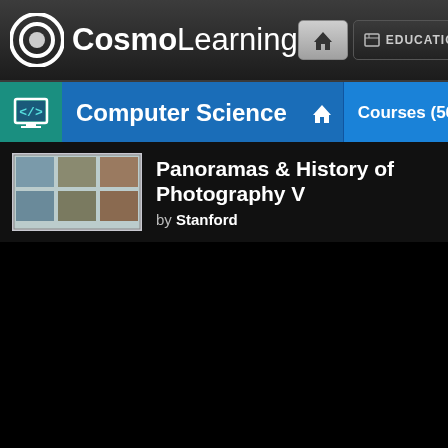[Figure (screenshot): CosmoLearning website header with logo showing a circle C icon, the text CosmoLearning, a home button, and an EDUCATION navigation button]
Computer Science
Courses (56)
Docum
Panoramas & History of Photography V
by Stanford